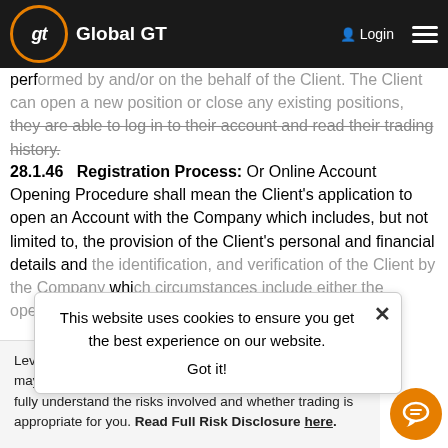Global GT — Navigation bar with Login
performed by and/or on the behalf of the Client. The Client can open a new position or close any existing positions, if they are able to log in to their account and read their trading history.
28.1.46 Registration Process: Or Online Account Opening Procedure shall mean the Client's application to open an Account with the Company which includes, but not limited to, the provision of the Client's personal and financial details and the identification, and verification of the Client by the Company which circumstances include either the opening account or the rejection of the application.
Cookie notice: This website uses cookies to ensure you get the best experience on our website. Got it!
Leveraged products may not be suitable for everyone and may result in loss of all your capital. Please ensure you fully understand the risks involved and whether trading is appropriate for you. Read Full Risk Disclosure here.